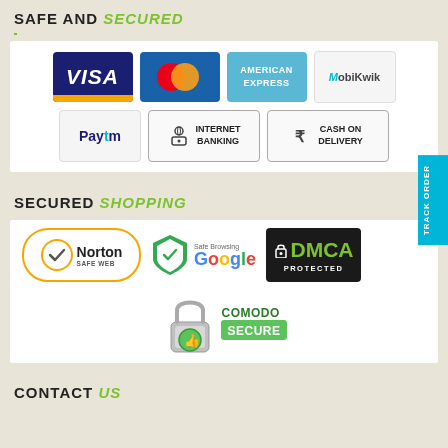SAFE AND SECURED
[Figure (infographic): Payment method logos including Visa, Mastercard, American Express, MobiKwik, Paytm, Internet Banking, and Cash on Delivery]
SECURED SHOPPING
[Figure (infographic): Security badges: Norton Safe Web, Google Safe Browsing, DMCA Protected, Comodo Secure]
CONTACT US